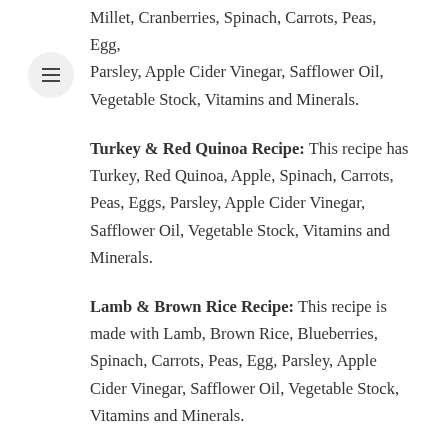Millet, Cranberries, Spinach, Carrots, Peas, Egg, Parsley, Apple Cider Vinegar, Safflower Oil, Vegetable Stock, Vitamins and Minerals.
Turkey & Red Quinoa Recipe: This recipe has Turkey, Red Quinoa, Apple, Spinach, Carrots, Peas, Eggs, Parsley, Apple Cider Vinegar, Safflower Oil, Vegetable Stock, Vitamins and Minerals.
Lamb & Brown Rice Recipe: This recipe is made with Lamb, Brown Rice, Blueberries, Spinach, Carrots, Peas, Egg, Parsley, Apple Cider Vinegar, Safflower Oil, Vegetable Stock, Vitamins and Minerals.
Spot and Tango Dog Food – Top 3